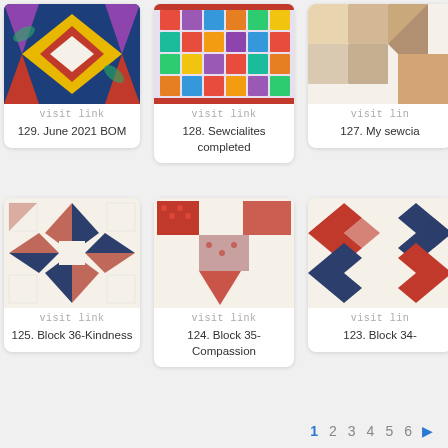[Figure (photo): Quilt block photo showing colorful floral fabric with heart/star design in yellow and blue tones]
visit link
129. June 2021 BOM
[Figure (photo): Quilt block photo showing multicolored mosaic/pinwheel pattern with various prints]
visit link
128. Sewcialites completed
[Figure (photo): Quilt block partially shown on right edge]
visit link
127. My sewcia
[Figure (photo): Quilt block showing star/pinwheel pattern in dark navy and pinkish-red on cream background]
visit link
125. Block 36-Kindness
[Figure (photo): Quilt block showing checkerboard/pinwheel pattern in red polka dot and plain red on cream]
visit link
124. Block 35-Compassion
[Figure (photo): Quilt block partially shown on right edge, with red and navy diamond/cross pattern]
visit link
123. Block 34-
1 2 3 4 5 6 ▶